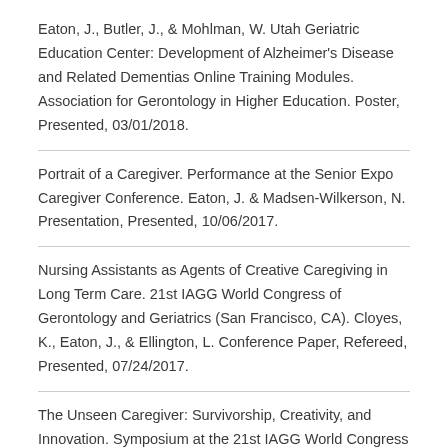Eaton, J., Butler, J., & Mohlman, W. Utah Geriatric Education Center: Development of Alzheimer's Disease and Related Dementias Online Training Modules. Association for Gerontology in Higher Education. Poster, Presented, 03/01/2018.
Portrait of a Caregiver. Performance at the Senior Expo Caregiver Conference. Eaton, J. & Madsen-Wilkerson, N. Presentation, Presented, 10/06/2017.
Nursing Assistants as Agents of Creative Caregiving in Long Term Care. 21st IAGG World Congress of Gerontology and Geriatrics (San Francisco, CA). Cloyes, K., Eaton, J., & Ellington, L. Conference Paper, Refereed, Presented, 07/24/2017.
The Unseen Caregiver: Survivorship, Creativity, and Innovation. Symposium at the 21st IAGG World Congress of Gerontology and Geriatrics (San Francisco, CA). Cloyes,